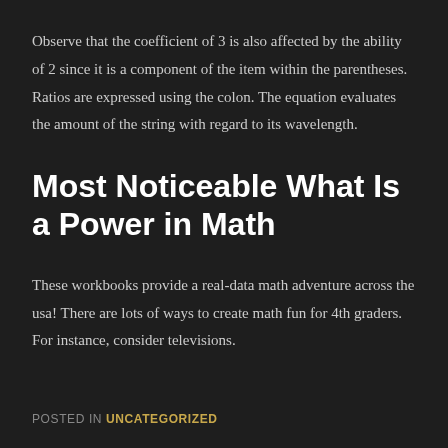Observe that the coefficient of 3 is also affected by the ability of 2 since it is a component of the item within the parentheses. Ratios are expressed using the colon. The equation evaluates the amount of the string with regard to its wavelength.
Most Noticeable What Is a Power in Math
These workbooks provide a real-data math adventure across the usa! There are lots of ways to create math fun for 4th graders. For instance, consider televisions.
POSTED IN UNCATEGORIZED